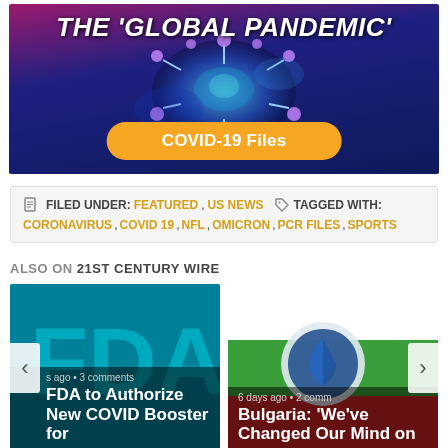[Figure (screenshot): Banner image showing 'THE GLOBAL PANDEMIC' text with a coronavirus illustration and a gold button reading 'COVID-19 Files' on a dark blue/purple gradient background]
FILED UNDER: FEATURED, US NEWS  TAGGED WITH: CORONAVIRUS, COVID 19, NFL, OMICRON, PCR FILES, SPORTS
ALSO ON 21ST CENTURY WIRE
[Figure (screenshot): Article card: FDA logo background, text 's ago • 3 comments', headline 'FDA to Authorize New COVID Booster for' with left navigation arrow]
[Figure (screenshot): Article card: Gazprom logo background, text '6 days ago • 2 comm', headline 'Bulgaria: We've Changed Our Mind on' with right navigation arrow]